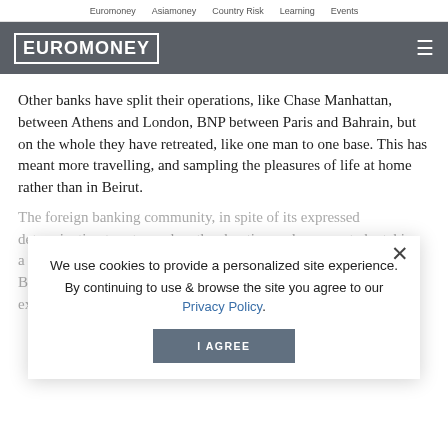Euromoney   Asiamoney   Country Risk   Learning   Events
[Figure (logo): Euromoney logo in white text with border on dark grey header bar with hamburger menu icon]
Other banks have split their operations, like Chase Manhattan, between Athens and London, BNP between Paris and Bahrain, but on the whole they have retreated, like one man to one base. This has meant more travelling, and sampling the pleasures of life at home rather than in Beirut.
We use cookies to provide a personalized site experience.
By continuing to use & browse the site you agree to our Privacy Policy.
I AGREE
The foreign banking community, in spite of its expressed determination to return when the shooting ends, seems to be taking a more sober view of Beirut's former importance. Book assets in Beirut were apparently less than... daily forex deals did not exceed $50 million when the guerillas moved in, but